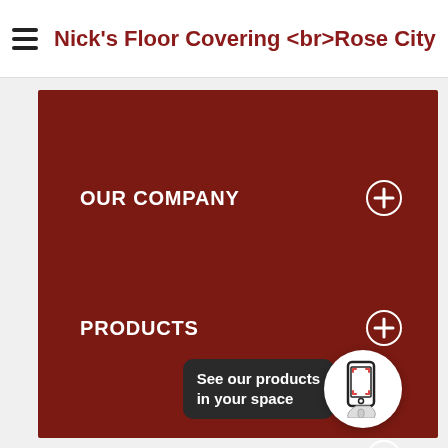Nick's Floor Covering <br>Rose City
OUR COMPANY
PRODUCTS
CONTACT INFORMATION
See our products in your space